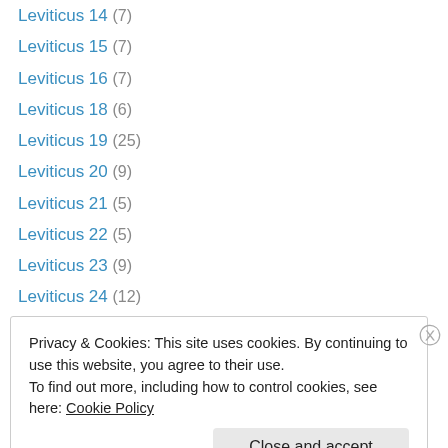Leviticus 14 (7)
Leviticus 15 (7)
Leviticus 16 (7)
Leviticus 18 (6)
Leviticus 19 (25)
Leviticus 20 (9)
Leviticus 21 (5)
Leviticus 22 (5)
Leviticus 23 (9)
Leviticus 24 (12)
Leviticus 25 (8)
Leviticus 6 (8)
Leviticus Other (29)
Privacy & Cookies: This site uses cookies. By continuing to use this website, you agree to their use. To find out more, including how to control cookies, see here: Cookie Policy
Close and accept